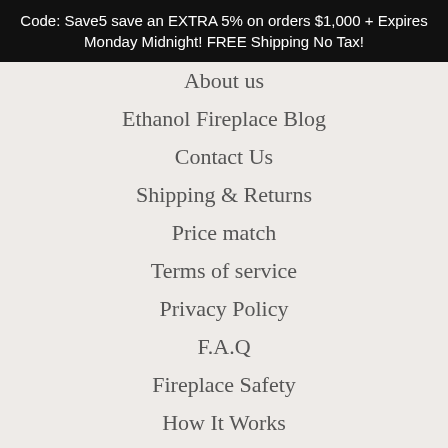Code: Save5 save an EXTRA 5% on orders $1,000 + Expires Monday Midnight! FREE Shipping No Tax!
About us
Ethanol Fireplace Blog
Contact Us
Shipping & Returns
Price match
Terms of service
Privacy Policy
F.A.Q
Fireplace Safety
How It Works
Site Map
AffiliateProgram